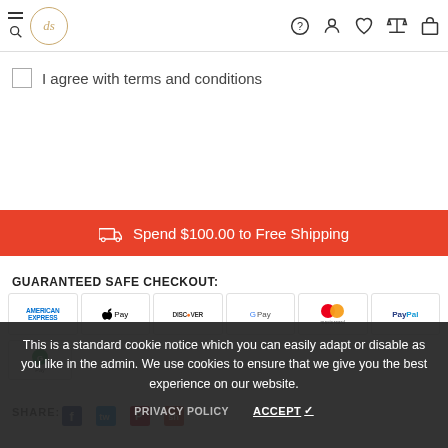Navigation header with logo, search, hamburger, help, account, wishlist, compare, and cart icons
I agree with terms and conditions
Spend $100.00 to Free Shipping
GUARANTEED SAFE CHECKOUT:
[Figure (other): Payment method logos: American Express, Apple Pay, Discover, Google Pay, Mastercard, PayPal, Google Pay]
This is a standard cookie notice which you can easily adapt or disable as you like in the admin. We use cookies to ensure that we give you the best experience on our website.
PRIVACY POLICY   ACCEPT ✓
SHARE:
[Figure (other): Social media share icons: Facebook, Twitter, Pinterest, and another icon]